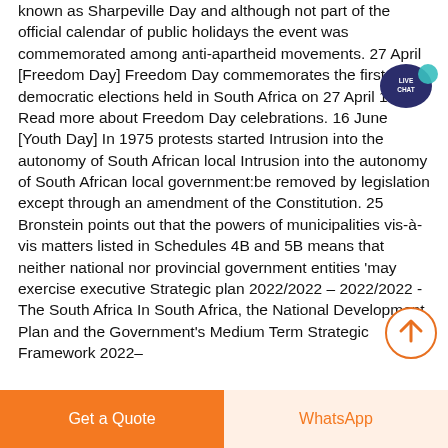known as Sharpeville Day and although not part of the official calendar of public holidays the event was commemorated among anti-apartheid movements. 27 April [Freedom Day] Freedom Day commemorates the first democratic elections held in South Africa on 27 April 1994. Read more about Freedom Day celebrations. 16 June [Youth Day] In 1975 protests started Intrusion into the autonomy of South African local Intrusion into the autonomy of South African local government:be removed by legislation except through an amendment of the Constitution. 25 Bronstein points out that the powers of municipalities vis-à-vis matters listed in Schedules 4B and 5B means that neither national nor provincial government entities 'may exercise executive Strategic plan 2022/2022 – 2022/2022 - The South Africa In South Africa, the National Development Plan and the Government's Medium Term Strategic Framework 2022–
[Figure (illustration): Live chat speech bubble icon with text LIVE CHAT in teal/dark blue color]
[Figure (illustration): Scroll to top circular button with upward arrow, orange outline circle]
Get a Quote | WhatsApp